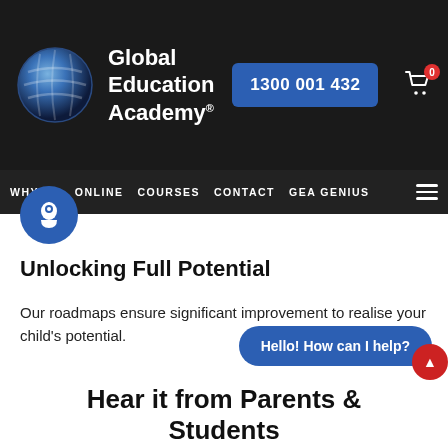[Figure (logo): Global Education Academy logo with blue globe icon and text on dark background, phone number button 1300 001 432, and shopping cart icon]
WHY US   ONLINE   COURSES   CONTACT   GEA GENIUS
[Figure (illustration): Blue circular icon with a head silhouette and gear/cog symbol representing learning/potential]
Unlocking Full Potential
Our roadmaps ensure significant improvement to realise your child's potential.
[Figure (screenshot): Blue chat bubble with text 'Hello! How can I help?' and chat widget icons]
Hear it from Parents & Students